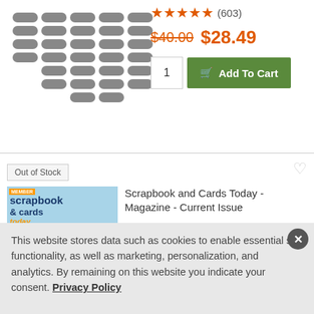[Figure (photo): Product image showing grid of pill/capsule shaped items in grey]
★★★★★ (603)
$40.00  $28.49
1   Add To Cart
Out of Stock
[Figure (photo): Cover of Scrapbook and Cards Today magazine showing girl with sunflower]
Scrapbook and Cards Today - Magazine - Current Issue
★★★★½ (673)
$7.99  $0.00
Notify Me
This website stores data such as cookies to enable essential site functionality, as well as marketing, personalization, and analytics. By remaining on this website you indicate your consent. Privacy Policy